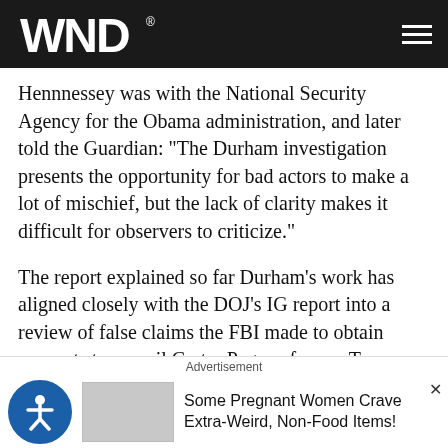WND
Hennnessey was with the National Security Agency for the Obama administration, and later told the Guardian: "The Durham investigation presents the opportunity for bad actors to make a lot of mischief, but the lack of clarity makes it difficult for observers to criticize."
The report explained so far Durham's work has aligned closely with the DOJ's IG report into a review of false claims the FBI made to obtain warrants to surveil Carter Page, a former Trump campaign aide.
Durham was picked in April 2019 by Barr to lead a
Advertisement
Some Pregnant Women Crave Extra-Weird, Non-Food Items!